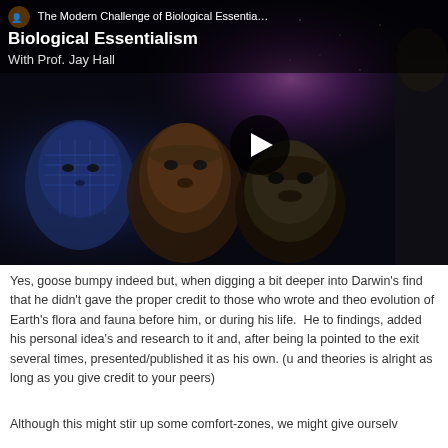[Figure (screenshot): Video thumbnail for 'The Modern Challenge of Biological Essentialism' with Prof. Jay Hall. Shows a dark cosmic background with three CGI hominid/primate heads in profile, and a play button in the center-right area.]
Yes, goose bumpy indeed but, when digging a bit deeper into Darwin's find that he didn't gave the proper credit to those who wrote and theo evolution of Earth's flora and fauna before him, or during his life.  He to findings, added his personal idea's and research to it and, after being la pointed to the exit several times, presented/published it as his own. (u and theories is alright as long as you give credit to your peers)
Although this might stir up some comfort-zones, we might give ourselv